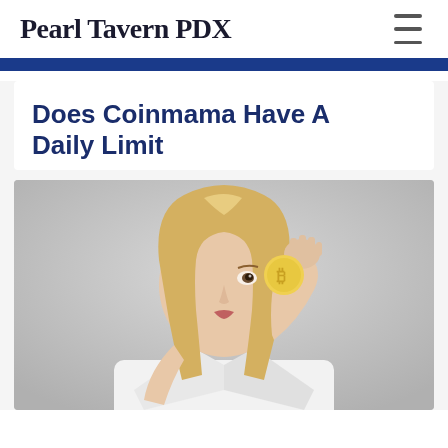Pearl Tavern PDX
Does Coinmama Have A Daily Limit
[Figure (photo): Blonde woman in a white shirt holding a gold bitcoin coin up to her eye, photographed against a grey background]